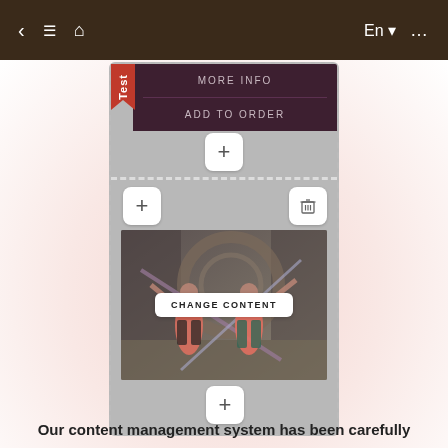[Figure (screenshot): Mobile app interface screenshot showing a content management system UI with navigation bar (back arrow, menu, home icons, En language selector), a dashed-border phone mockup with purple section containing MORE INFO and ADD TO ORDER buttons, a red Test tab, plus/add and trash/delete action buttons, a fitness image with women exercising with resistance bands overlaid with CHANGE CONTENT button]
Our content management system has been carefully